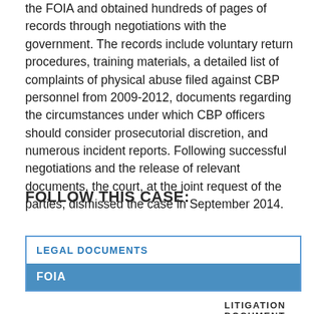the FOIA and obtained hundreds of pages of records through negotiations with the government. The records include voluntary return procedures, training materials, a detailed list of complaints of physical abuse filed against CBP personnel from 2009-2012, documents regarding the circumstances under which CBP officers should consider prosecutorial discretion, and numerous incident reports. Following successful negotiations and the release of relevant documents, the court, at the joint request of the parties, dismissed the case in September 2014.
FOLLOW THIS CASE:
LEGAL DOCUMENTS
FOIA
LITIGATION DOCUMENT